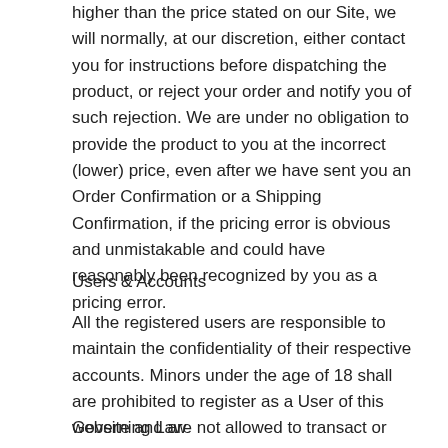higher than the price stated on our Site, we will normally, at our discretion, either contact you for instructions before dispatching the product, or reject your order and notify you of such rejection. We are under no obligation to provide the product to you at the incorrect (lower) price, even after we have sent you an Order Confirmation or a Shipping Confirmation, if the pricing error is obvious and unmistakable and could have reasonably been recognized by you as a pricing error.
Users & Accounts
All the registered users are responsible to maintain the confidentiality of their respective accounts. Minors under the age of 18 shall are prohibited to register as a User of this website and are not allowed to transact or use the website.
Governing Law